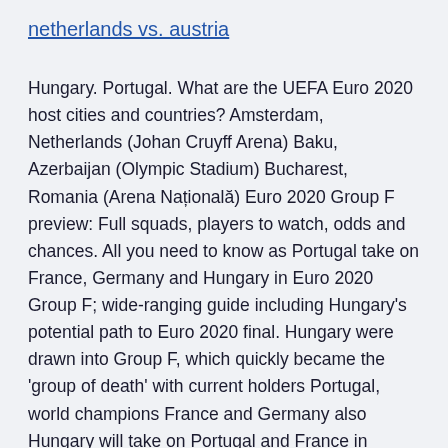netherlands vs. austria
Hungary. Portugal. What are the UEFA Euro 2020 host cities and countries? Amsterdam, Netherlands (Johan Cruyff Arena) Baku, Azerbaijan (Olympic Stadium) Bucharest, Romania (Arena Națională) Euro 2020 Group F preview: Full squads, players to watch, odds and chances. All you need to know as Portugal take on France, Germany and Hungary in Euro 2020 Group F; wide-ranging guide including Hungary's potential path to Euro 2020 final. Hungary were drawn into Group F, which quickly became the 'group of death' with current holders Portugal, world champions France and Germany also Hungary will take on Portugal and France in Budapest before travelling to Munich to take on Germany in the final group game.